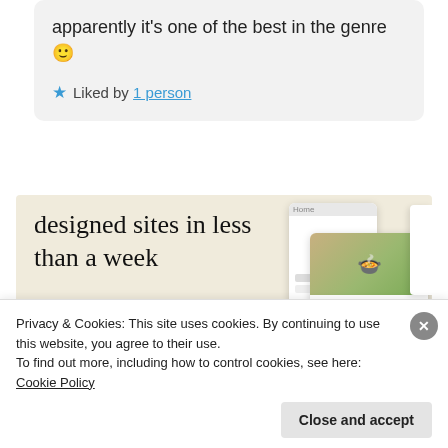apparently it's one of the best in the genre 🙂
★ Liked by 1 person
[Figure (infographic): WordPress advertisement banner with text 'designed sites in less than a week', a green 'Explore options' button, WordPress logo, and website mockup images on a beige background]
Privacy & Cookies: This site uses cookies. By continuing to use this website, you agree to their use.
To find out more, including how to control cookies, see here: Cookie Policy
Close and accept